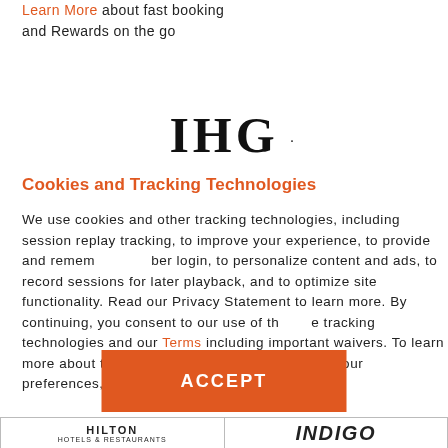Learn More about fast booking and Rewards on the go
[Figure (logo): IHG logo — large stylized letters 'IHG' with a dot]
Cookies and Tracking Technologies
We use cookies and other tracking technologies, including session replay tracking, to improve your experience, to provide and remember login, to personalize content and ads, to record sessions for later playback, and to optimize site functionality. Read our Privacy Statement to learn more. By continuing, you consent to our use of the tracking technologies and our Terms including important waivers. To learn more about the trackers on our site and change your preferences, View Settings.
[Figure (other): Orange ACCEPT button]
[Figure (logo): Hilton Hotels & Restaurants logo and Indigo logo at bottom of page]